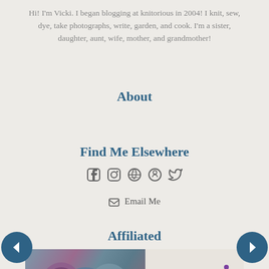Hi! I'm Vicki. I began blogging at knitorious in 2004! I knit, sew, dye, take photographs, write, garden, and cook. I'm a sister, daughter, aunt, wife, mother, and grandmother!
About
Find Me Elsewhere
[Figure (infographic): Social media icons: Facebook, Instagram, Pinterest, Ravelry, Twitter]
✉ Email Me
Affiliated
[Figure (photo): Knit Picks affiliate banner with yarn skeins and Knit Picks logo]